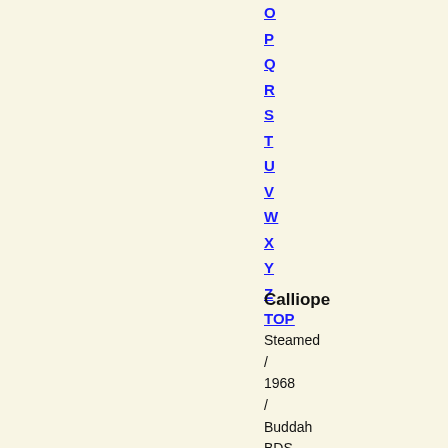O
P
Q
R
S
T
U
V
W
X
Y
Z
TOP
Calliope
Steamed / 1968 / Buddah BDS-5023